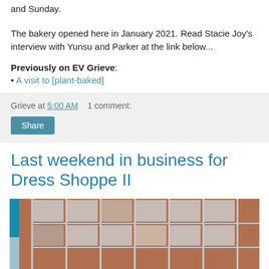and Sunday.
The bakery opened here in January 2021. Read Stacie Joy's interview with Yunsu and Parker at the link below...
Previously on EV Grieve:
• A visit to [plant-baked]
Grieve at 5:00 AM   1 comment:
Last weekend in business for Dress Shoppe II
[Figure (photo): Exterior photo of a brick building with metal fire escape or scaffolding structure, and a teal/blue awning or sign element on the left side.]